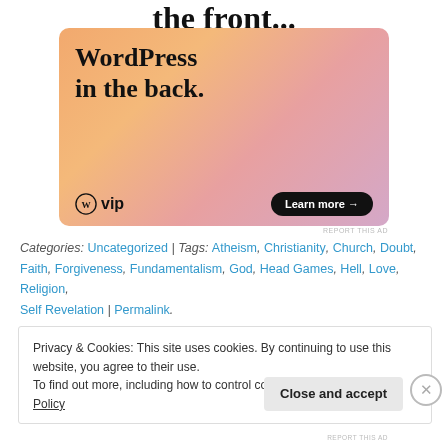the front...
[Figure (illustration): WordPress VIP advertisement banner with gradient peach/pink/purple background. Shows text 'WordPress in the back.' with WordPress VIP logo and 'Learn more →' button.]
REPORT THIS AD
Categories: Uncategorized | Tags: Atheism, Christianity, Church, Doubt, Faith, Forgiveness, Fundamentalism, God, Head Games, Hell, Love, Religion, Self Revelation | Permalink.
Privacy & Cookies: This site uses cookies. By continuing to use this website, you agree to their use.
To find out more, including how to control cookies, see here: Cookie Policy
Close and accept